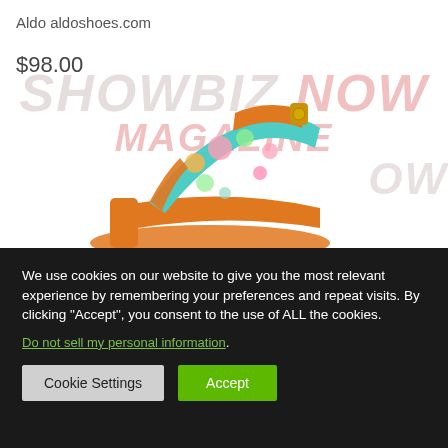Aldo aldoshoes.com
$98.00
[Figure (photo): A colorful floral patterned high-heel sandal with orange sole and ankle strap, displayed against a white background with a faded Showbiz Now Magazine watermark overlay]
We use cookies on our website to give you the most relevant experience by remembering your preferences and repeat visits. By clicking “Accept”, you consent to the use of ALL the cookies.
Do not sell my personal information.
Cookie Settings
Accept